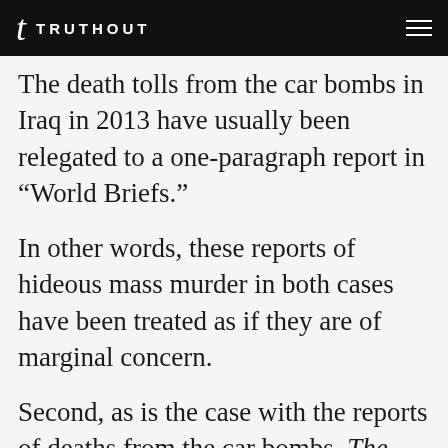TRUTHOUT
The death tolls from the car bombs in Iraq in 2013 have usually been relegated to a one-paragraph report in “World Briefs.”
In other words, these reports of hideous mass murder in both cases have been treated as if they are of marginal concern.
Second, as is the case with the reports of deaths from the car bombs, The Times also blithely attributed the death squad murders to “Shia-Sunni rivalries,” “sectarian hatred” or Al Qaeda , again, without any proof and despite the fact